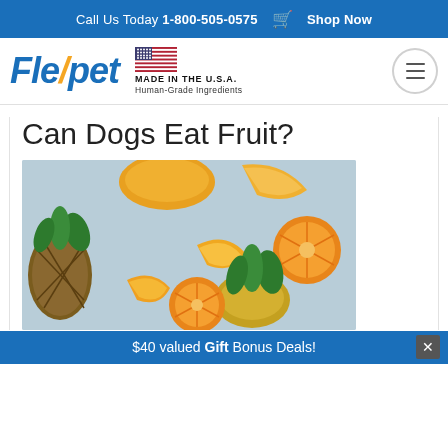Call Us Today 1-800-505-0575  Shop Now
[Figure (logo): Flexpet logo in blue italic bold font with orange slash, beside a USA flag badge reading MADE IN THE U.S.A. Human-Grade Ingredients, and a hamburger menu button on the right]
Can Dogs Eat Fruit?
[Figure (photo): Overhead photo on light blue background showing tropical fruits: pineapple, mango slices, and orange slices]
$40 valued Gift Bonus Deals!